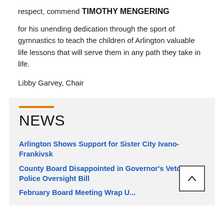respect, commend
TIMOTHY MENGERING
for his unending dedication through the sport of gymnastics to teach the children of Arlington valuable life lessons that will serve them in any path they take in life.
Libby Garvey, Chair
NEWS
Arlington Shows Support for Sister City Ivano-Frankivsk
County Board Disappointed in Governor's Veto of Police Oversight Bill
February Board Meeting Wrap Up...